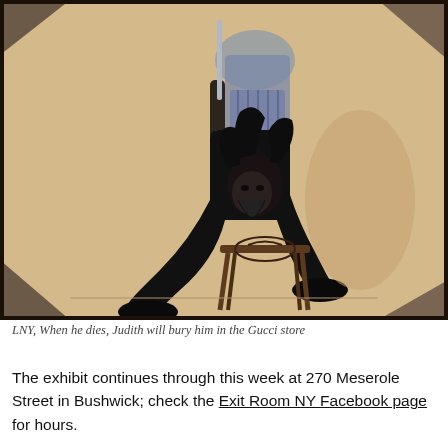[Figure (photo): Painting of a dark-haired figure seated on a wooden stool, wearing black clothes, holding a sword, with a partially visible figure behind. The painting appears to be on folded or shaped canvas with a beige/tan background. The style is semi-realistic with black and white and sepia tones.]
LNY, When he dies, Judith will bury him in the Gucci store
The exhibit continues through this week at 270 Meserole Street in Bushwick; check the Exit Room NY Facebook page for hours.